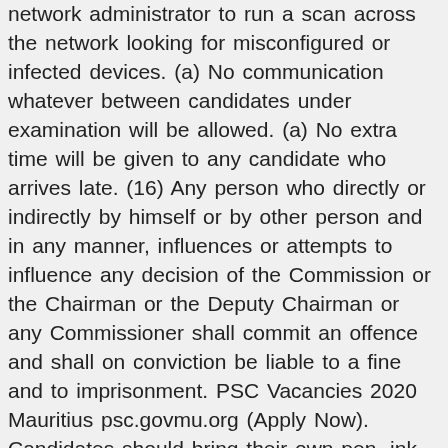network administrator to run a scan across the network looking for misconfigured or infected devices. (a) No communication whatever between candidates under examination will be allowed. (a) No extra time will be given to any candidate who arrives late. (16) Any person who directly or indirectly by himself or by other person and in any manner, influences or attempts to influence any decision of the Commission or the Chairman or the Deputy Chairman or any Commissioner shall commit an offence and shall on conviction be liable to a fine and to imprisonment. PSC Vacancies 2020 Mauritius psc.govmu.org (Apply Now). Candidates should bring their own pen, ink, ruler, calculator, etc. • The Answer Booklet only will be supplied to them. SAPS Online Application Form Download Application for SAPS Internship Programme (South African Police Service) This is the internship application form that requests common information required when applying for internships in the South African Police Service (SAPS). NB: Please Complete the form in your own handwriting in black ink, applicants with disabilities may apply to utilize accessible… Telephone: (020) 341411/6/8 Police Recruitment